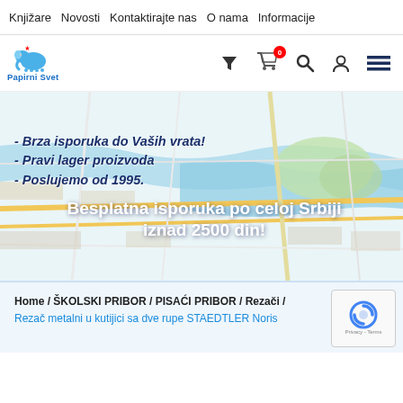Knjižare  Novosti  Kontaktirajte nas  O nama  Informacije
[Figure (logo): Papirni Svet logo with blue elephant icon, filter icon, shopping cart with 0 badge, search icon, user icon, hamburger menu]
[Figure (map): City map background (Belgrade area) with promotional text overlay: '- Brza isporuka do Vaših vrata! - Pravi lager proizvoda - Poslujemo od 1995.' and large text 'Besplatna isporuka po celoj Srbiji iznad 2500 din!']
Home / ŠKOLSKI PRIBOR / PISAĆI PRIBOR / Rezači / Rezač metalni u kutijici sa dve rupe STAEDTLER Noris